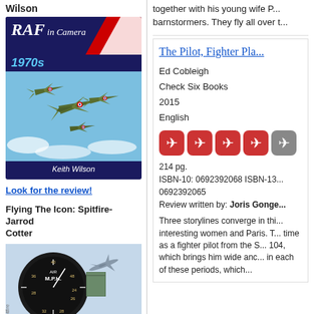Wilson
[Figure (illustration): Book cover: RAF in Camera 1970s by Keith Wilson, showing military jets flying in formation against a blue sky, with dark navy background and red/white stripe accent.]
Look for the review!
Flying The Icon: Spitfire- Jarrod Cotter
[Figure (photo): Book cover for Flying The Icon: Spitfire by Jarrod Cotter, showing a cockpit airspeed indicator and a Spitfire aircraft against a sky background.]
together with his young wife P... barnstormers. They fly all over t...
The Pilot, Fighter Pla...
Ed Cobleigh
Check Six Books
2015
English
[Figure (infographic): 5 airplane icons rating system: 4 red airplane icons and 1 gray airplane icon]
214 pg.
ISBN-10: 0692392068 ISBN-13... 0692392065
Review written by: Joris Gonge...
Three storylines converge in thi... interesting women and Paris. T... time as a fighter pilot from the S... 104, which brings him wide anc... in each of these periods, which...